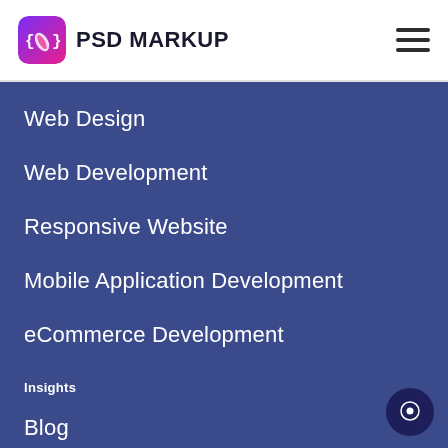PSD MARKUP
Web Design
Web Development
Responsive Website
Mobile Application Development
eCommerce Development
Insights
Blog
Resources
Our Portfolio